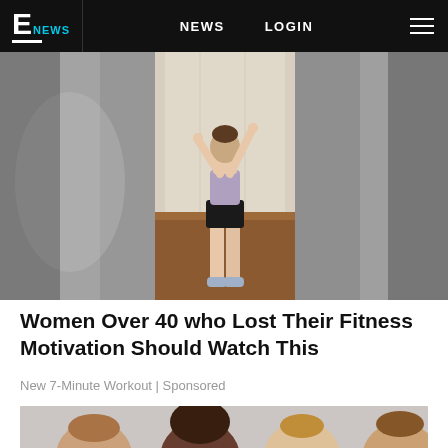E NEWS  NEWS  LOGIN
[Figure (photo): Woman exercising in a hallway, wearing a sports bra and black shorts, arms raised, shot from behind in a home gym setting]
Women Over 40 who Lost Their Fitness Motivation Should Watch This
New 7-Minute Workout | Sponsored
[Figure (photo): Group of four women posing together, various ethnicities, smiling at camera]